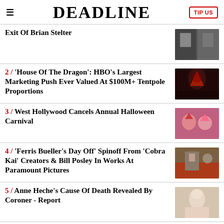DEADLINE
Exit Of Brian Stelter
2 / 'House Of The Dragon': HBO's Largest Marketing Push Ever Valued At $100M+ Tentpole Proportions
3 / West Hollywood Cancels Annual Halloween Carnival
4 / 'Ferris Bueller's Day Off' Spinoff From 'Cobra Kai' Creators & Bill Posley In Works At Paramount Pictures
5 / Anne Heche's Cause Of Death Revealed By Coroner - Report